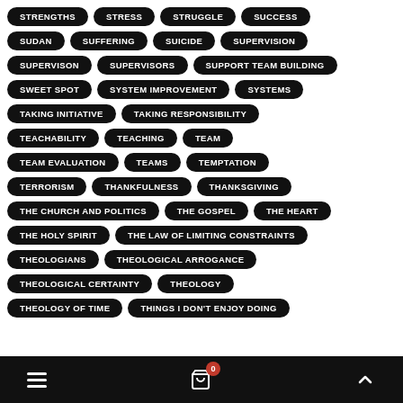STRENGTHS
STRESS
STRUGGLE
SUCCESS
SUDAN
SUFFERING
SUICIDE
SUPERVISION
SUPERVISON
SUPERVISORS
SUPPORT TEAM BUILDING
SWEET SPOT
SYSTEM IMPROVEMENT
SYSTEMS
TAKING INITIATIVE
TAKING RESPONSIBILITY
TEACHABILITY
TEACHING
TEAM
TEAM EVALUATION
TEAMS
TEMPTATION
TERRORISM
THANKFULNESS
THANKSGIVING
THE CHURCH AND POLITICS
THE GOSPEL
THE HEART
THE HOLY SPIRIT
THE LAW OF LIMITING CONSTRAINTS
THEOLOGIANS
THEOLOGICAL ARROGANCE
THEOLOGICAL CERTAINTY
THEOLOGY
THEOLOGY OF TIME
THINGS I DON'T ENJOY DOING
Navigation bar with menu, cart (0), and up arrow